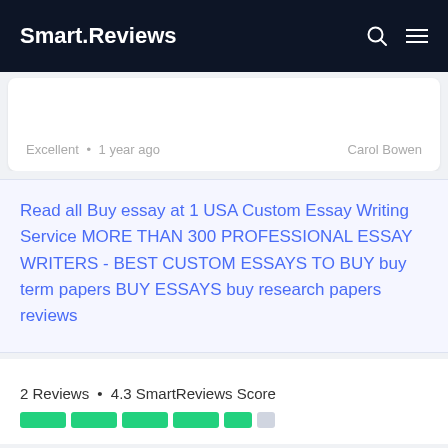Smart.Reviews
Excellent • 1 year ago   Carol Bowen
Read all Buy essay at 1 USA Custom Essay Writing Service MORE THAN 300 PROFESSIONAL ESSAY WRITERS - BEST CUSTOM ESSAYS TO BUY buy term papers BUY ESSAYS buy research papers reviews
2 Reviews • 4.3 SmartReviews Score